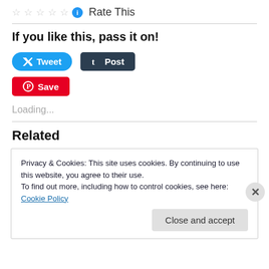[Figure (other): Star rating widget with 5 empty stars, info icon, and 'Rate This' label]
If you like this, pass it on!
[Figure (other): Tweet button (blue, rounded), Post button (dark, Tumblr), Save button (red, Pinterest)]
Loading...
Related
Privacy & Cookies: This site uses cookies. By continuing to use this website, you agree to their use.
To find out more, including how to control cookies, see here: Cookie Policy
Close and accept